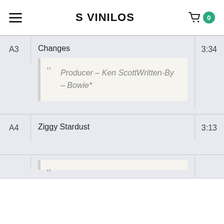S VINILOS
| Track | Title | Duration |
| --- | --- | --- |
| A3 | Changes | 3:34 |
| A4 | Ziggy Stardust | 3:13 |
Producer – Ken ScottWritten-By – Bowie*